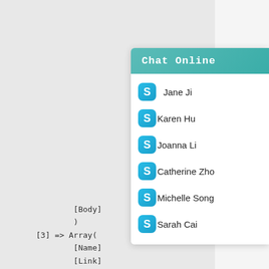[Figure (screenshot): Chat Online panel showing Skype contacts: Jane Ji, Karen Hu, Joanna Li, Catherine Zhou, Michelle Song, Sarah Cai, with teal header and Skype icons.]
[Body]
)
[3] => Array(
    [Name]
    [Link]
    [BigPi
    [Small
    [Remark] =>
    [Id] => 4
    [Type] => 0
    [Arg] =>
    [Width] => 1200
    [Height] => 440